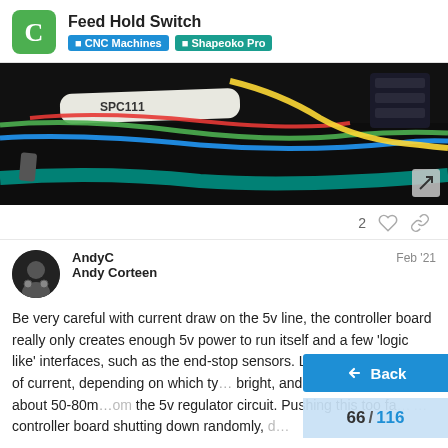Feed Hold Switch — CNC Machines | Shapeoko Pro
[Figure (photo): Close-up photo of wiring inside a CNC machine controller showing multiple colored wires (red, green, blue, yellow) and a white component labeled SPC111 on a dark background]
2 ♡ 🔗
AndyC  Feb '21
Andy Corteen
Be very careful with current draw on the 5v line, the controller board really only creates enough 5v power to run itself and a few 'logic like' interfaces, such as the end-stop sensors. LEDs take 20-50mA of current, depending on which ty... bright, and I reckon there is only only about 50-80mA ...om the 5v regulator circuit. Pushing this too fa... controller board shutting down randomly, d... ...bit continuation to content.